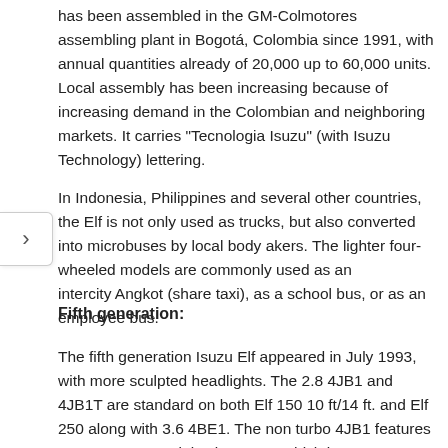has been assembled in the GM-Colmotores assembling plant in Bogotá, Colombia since 1991, with annual quantities already of 20,000 up to 60,000 units. Local assembly has been increasing because of increasing demand in the Colombian and neighboring markets. It carries "Tecnologia Isuzu" (with Isuzu Technology) lettering.
In Indonesia, Philippines and several other countries, the Elf is not only used as trucks, but also converted into microbuses by local body makers. The lighter four-wheeled models are commonly used as an intercity Angkot (share taxi), as a school bus, or as an employee bus.
Fifth generation:
The fifth generation Isuzu Elf appeared in July 1993, with more sculpted headlights. The 2.8 4JB1 and 4JB1T are standard on both Elf 150 10 ft/14 ft. and Elf 250 along with 3.6 4BE1. The non turbo 4JB1 features a new VE Rotary injection pump which increase power to 90ps and euro emission. In May 1995 it received a minor change, including upgraded, cleaner diesel engines.The H series 4.0-liter 4HE1 and 4.3-liter 4HF1. The 16 ft. Chassis with H series engine are standard while